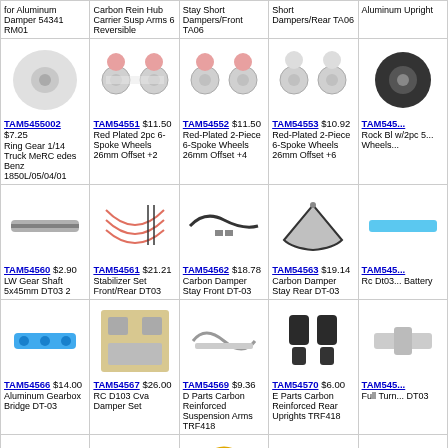| for Aluminum Damper 54341 RM01 | Carbon Rein Hub Carrier Susp Arms 6 Reversible | Stay Short Dampers/Front TA06 | Short Dampers/Rear TA06 | Aluminum Upright |
| TAM5455002 $7.25 Ring Gear 1/14 Truck MeRCedes Benz 1850L/05/04/01 | TAM54551 $11.50 Red Plated 2pc 6-Spoke Wheels 26mm Offset +2 | TAM54552 $11.50 Red-Plated 2-Piece 6-Spoke Wheels 26mm Offset +4 | TAM54553 $10.92 Red-Plated 2-Piece 6-Spoke Wheels 26mm Offset +6 | TAM545... Rock Bl w/2pc 5... Wheels... |
| TAM54560 $2.90 LW Gear Shaft 5x45mm DT03 2 | TAM54561 $21.21 Stabilizer Set Front/Rear DT03 | TAM54562 $18.78 Carbon Damper Stay Front DT-03 | TAM54563 $19.14 Carbon Damper Stay Rear DT-03 | TAM545... Rc Dt03... Battery |
| TAM54566 $14.00 Aluminum Gearbox Bridge DT-03 | TAM54567 $26.00 RC D103 Cva Damper Set | TAM54569 $9.36 D Parts Carbon Reinforced Suspension Arms TRF418 | TAM54570 $6.00 E Parts Carbon Reinforced Rear Uprights TRF418 | TAM545... Full Turn... DT03 |
| TAM54574 $44.66 Aluminum Racing Steering TT-02 | TAM54576 $15.20 Carbon Damper Mount Plate F104 Ver.li | TAM54578 $9.00 06 Hard Coated Aluminum Pinion 25T | TAM54579 $24.50 5x11x4mm 1150 Ball Bearings (16) | TAM545... Carbon Carrier ... Rev. Su |